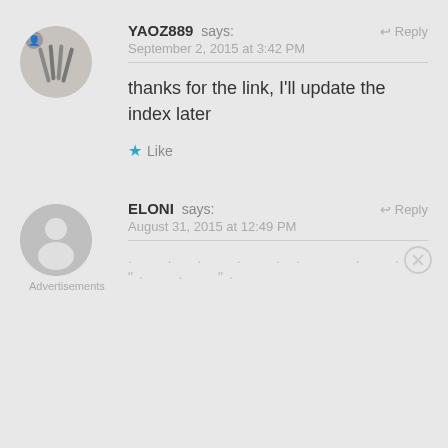[Figure (illustration): Round avatar with photo of cutlery/forks in black and white, with small person icon badge at top-left]
YAOZ889 says:
Reply
September 2, 2015 at 3:42 PM
thanks for the link, I'll update the index later
Like
[Figure (illustration): Round grey default avatar with silhouette person icon]
ELONI says:
Reply
August 31, 2015 at 12:49 PM
Advertisements